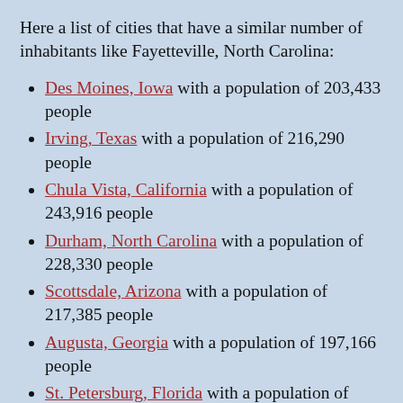Here a list of cities that have a similar number of inhabitants like Fayetteville, North Carolina:
Des Moines, Iowa with a population of 203,433 people
Irving, Texas with a population of 216,290 people
Chula Vista, California with a population of 243,916 people
Durham, North Carolina with a population of 228,330 people
Scottsdale, Arizona with a population of 217,385 people
Augusta, Georgia with a population of 197,166 people
St. Petersburg, Florida with a population of 253,693 people
Garland, Texas with a population of 226,876 people
Little Rock, Arkansas with a population of 193,524